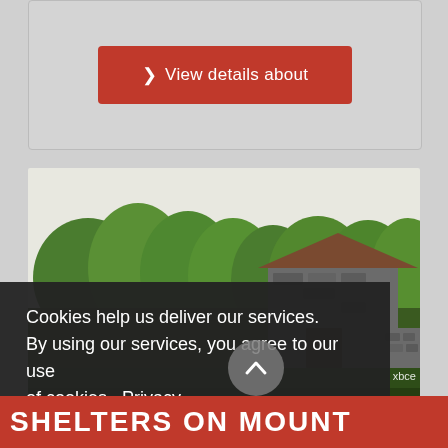[Figure (other): A red button labeled '❯ View details about' on a light grey card background]
[Figure (photo): Photograph of a stone barn or shelter surrounded by lush green trees, with a pale sky above. A stone wall and wooden fence are visible to the right.]
Cookies help us deliver our services. By using our services, you agree to our use of cookies.  Privacy
I agree
SHELTERS ON MOUNT